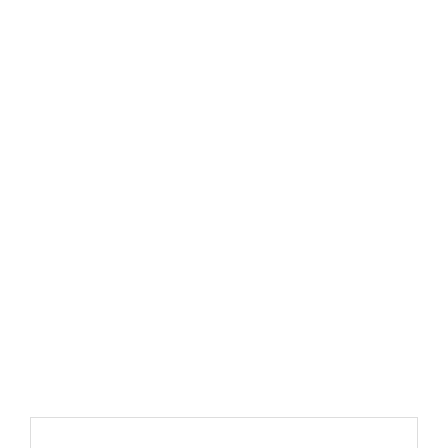3
Dubai Expo City announced as host venue for COP28 summit
BY ADMIN - JUNE 23, 2022